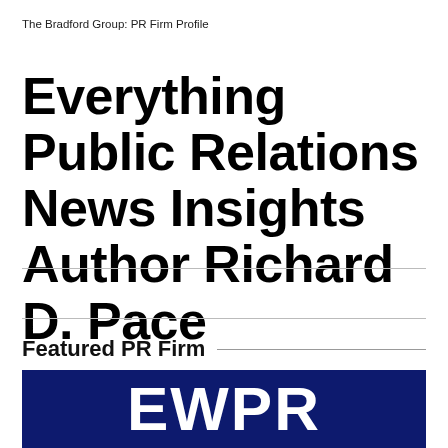The Bradford Group: PR Firm Profile
Everything Public Relations News Insights Author Richard D. Pace
Featured PR Firm
[Figure (logo): EWPR logo on dark navy blue background, white bold letters]